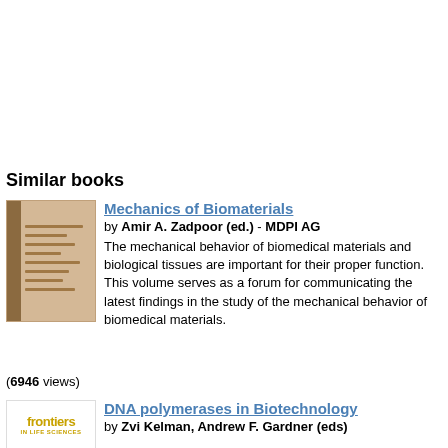Similar books
[Figure (illustration): Book cover for Mechanics of Biomaterials - tan/brown colored book cover with spine]
Mechanics of Biomaterials
by Amir A. Zadpoor (ed.) - MDPI AG
The mechanical behavior of biomedical materials and biological tissues are important for their proper function. This volume serves as a forum for communicating the latest findings in the study of the mechanical behavior of biomedical materials.
(6946 views)
[Figure (logo): Frontiers publisher logo]
DNA polymerases in Biotechnology
by Zvi Kelman, Andrew F. Gardner (eds)